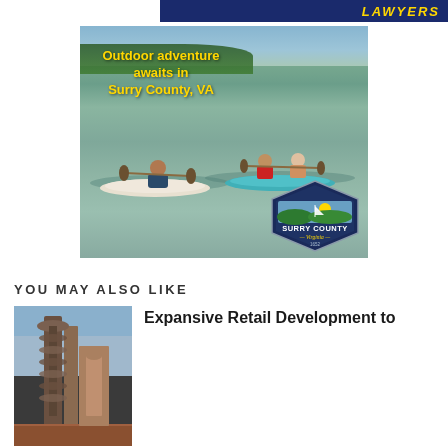[Figure (illustration): Top banner with yellow italic text 'LAWYERS' on dark navy background]
[Figure (photo): Surry County Virginia tourism advertisement showing people kayaking on a river with text 'Outdoor adventure awaits in Surry County, VA' in yellow bold font, and Surry County Virginia logo/badge with 1652 establishment year]
YOU MAY ALSO LIKE
[Figure (photo): Industrial machinery photo showing large screw/auger drill equipment against cloudy sky]
Expansive Retail Development to